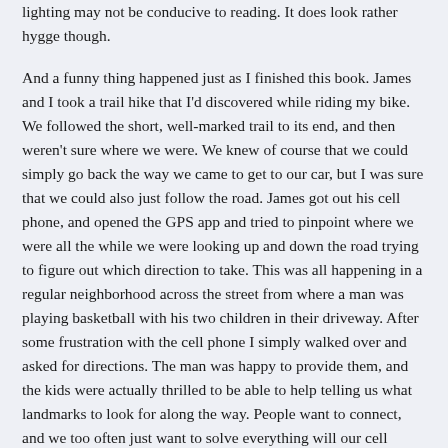lighting may not be conducive to reading. It does look rather hygge though.
And a funny thing happened just as I finished this book. James and I took a trail hike that I'd discovered while riding my bike. We followed the short, well-marked trail to its end, and then weren't sure where we were. We knew of course that we could simply go back the way we came to get to our car, but I was sure that we could also just follow the road. James got out his cell phone, and opened the GPS app and tried to pinpoint where we were all the while we were looking up and down the road trying to figure out which direction to take. This was all happening in a regular neighborhood across the street from where a man was playing basketball with his two children in their driveway. After some frustration with the cell phone I simply walked over and asked for directions. The man was happy to provide them, and the kids were actually thrilled to be able to help telling us what landmarks to look for along the way. People want to connect, and we too often just want to solve everything will our cell phones.
The only thing I really found off-putting was the propensity of the Danes to wear a lot of black. People should wear more bright